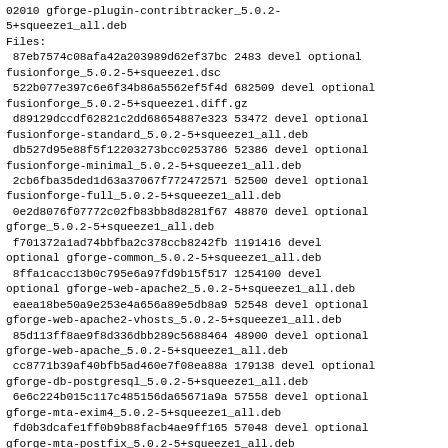02010 gforge-plugin-contribtracker_5.0.2-5+squeeze1_all.deb
Files:
 87eb7574c08afa42a203989d62ef37bc 2483 devel optional fusionforge_5.0.2-5+squeeze1.dsc
 522b077e397c6e6f34b86a5562ef5f4d 682509 devel optional fusionforge_5.0.2-5+squeeze1.diff.gz
 d89129dccdf62821c2dd68654887e323 53472 devel optional fusionforge-standard_5.0.2-5+squeeze1_all.deb
 db527d95e88f5f12203273bcc0253786 52386 devel optional fusionforge-minimal_5.0.2-5+squeeze1_all.deb
 2cb6fba35ded1d63a37067f772472571 52500 devel optional fusionforge-full_5.0.2-5+squeeze1_all.deb
 0e2d8076f07772c02fb83bb8d8281f67 48870 devel optional gforge_5.0.2-5+squeeze1_all.deb
 f701372a1ad74bbfba2c378ccb8242fb 1191416 devel optional gforge-common_5.0.2-5+squeeze1_all.deb
 8ffa1cacc13b0c795e6a97fd9b15f517 1254100 devel optional gforge-web-apache2_5.0.2-5+squeeze1_all.deb
 eaea18be50a9e253e4a656a89e5db8a9 52548 devel optional gforge-web-apache2-vhosts_5.0.2-5+squeeze1_all.deb
 85d113ff8ae9f8d336dbb289c5688464 48900 devel optional gforge-web-apache_5.0.2-5+squeeze1_all.deb
 cc8771b39af40bfb5ad460e7f08ea88a 179138 devel optional gforge-db-postgresql_5.0.2-5+squeeze1_all.deb
 6e6c224b015c117c485156da65671a9a 57558 devel optional gforge-mta-exim4_5.0.2-5+squeeze1_all.deb
 fd0b3dcafe1ff0b9b88facb4ae9ff165 57048 devel optional gforge-mta-postfix_5.0.2-5+squeeze1_all.deb
 651241369b3256da87e403b925991208 48970 devel optional gforge-mta-courier_5.0.2-5+squeeze1_all.deb